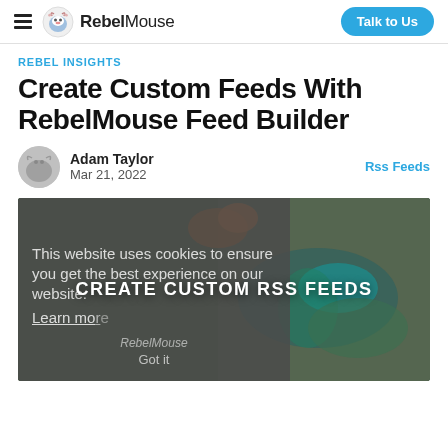RebelMouse — Talk to Us
REBEL INSIGHTS
Create Custom Feeds With RebelMouse Feed Builder
Adam Taylor
Mar 21, 2022
Rss Feeds
[Figure (screenshot): Hero image with hummingbird background, cookie consent overlay with text 'This website uses cookies to ensure you get the best experience on our website. Learn more', and centered overlay text 'CREATE CUSTOM RSS FEEDS' with RebelMouse watermark and 'Got it' button]